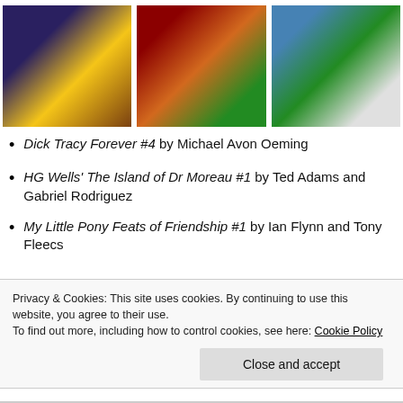[Figure (illustration): Three comic book covers side by side: Dick Tracy Forever, HG Wells Island of Dr Moreau, and My Little Pony/Ghostbusters themed comic]
Dick Tracy Forever #4 by Michael Avon Oeming
HG Wells' The Island of Dr Moreau #1 by Ted Adams and Gabriel Rodriguez
My Little Pony Feats of Friendship #1 by Ian Flynn and Tony Fleecs
Privacy & Cookies: This site uses cookies. By continuing to use this website, you agree to their use.
To find out more, including how to control cookies, see here: Cookie Policy
Close and accept